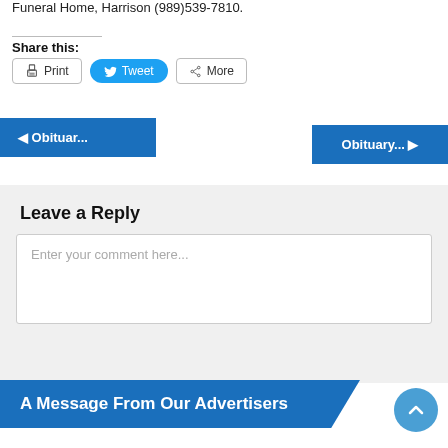Funeral Home, Harrison (989)539-7810.
Share this:
Print
Tweet
More
◄ Obituar...
Obituary... ►
Leave a Reply
Enter your comment here...
A Message From Our Advertisers